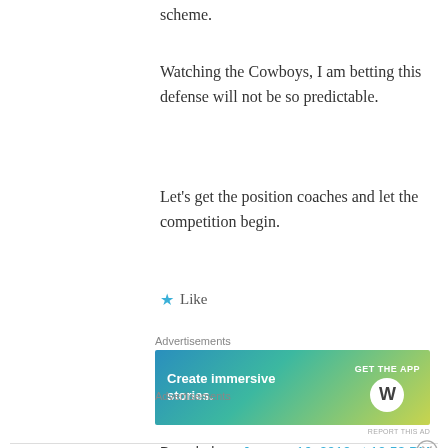scheme.
Watching the Cowboys, I am betting this defense will not be so predictable.
Let's get the position coaches and let the competition begin.
★ Like
Advertisements
[Figure (screenshot): WordPress advertisement banner: 'Create immersive stories. GET THE APP' with WordPress logo on gradient blue-green-yellow background]
Advertisements
Dawgbob on January 16, 2010 at 10:58 PM
[Figure (screenshot): Ulta Beauty advertisement banner showing cosmetics/makeup photos]